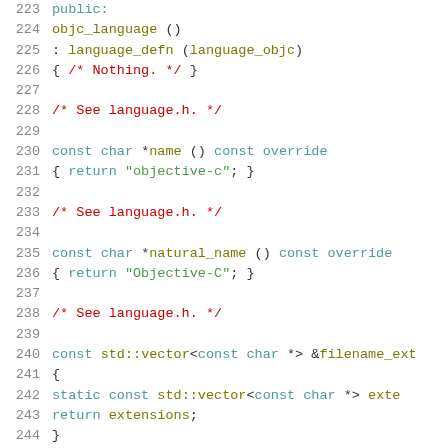[Figure (screenshot): Source code listing in C++ showing lines 223-244, depicting the objc_language class definition with methods name(), natural_name(), and filename_ext().]